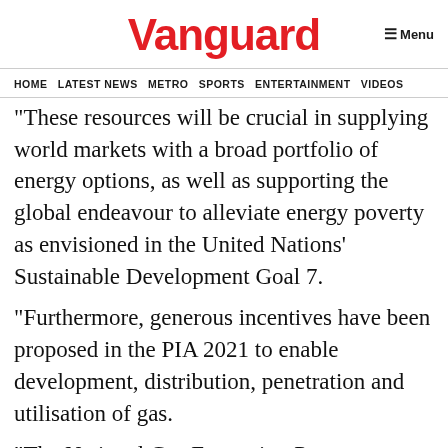Vanguard
HOME  LATEST NEWS  METRO  SPORTS  ENTERTAINMENT  VIDEOS
“These resources will be crucial in supplying world markets with a broad portfolio of energy options, as well as supporting the global endeavour to alleviate energy poverty as envisioned in the United Nations’ Sustainable Development Goal 7.
“Furthermore, generous incentives have been proposed in the PIA 2021 to enable development, distribution, penetration and utilisation of gas.
“The National Gas Expansion Programme was